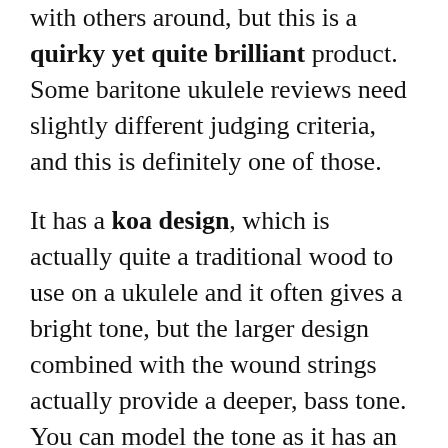with others around, but this is a quirky yet quite brilliant product. Some baritone ukulele reviews need slightly different judging criteria, and this is definitely one of those.
It has a koa design, which is actually quite a traditional wood to use on a ukulele and it often gives a bright tone, but the larger design combined with the wound strings actually provide a deeper, bass tone. You can model the tone as it has an inbuilt EQ, as well as a tuner. The electronics are made by Fishman and the quality is generally extremely high. It even comes with a free gig bag.